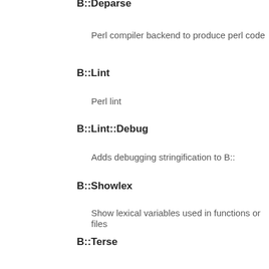B::Deparse
Perl compiler backend to produce perl code
B::Lint
Perl lint
B::Lint::Debug
Adds debugging stringification to B::
B::Showlex
Show lexical variables used in functions or files
B::Terse
Walk Perl syntax tree, printing terse info about ops
B::Xref
Generates cross reference reports for Perl programs
Benchmark